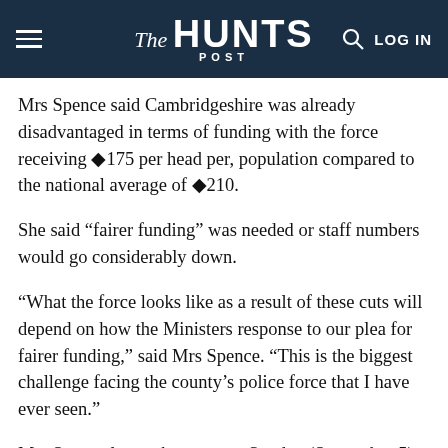The HUNTS POST
Mrs Spence said Cambridgeshire was already disadvantaged in terms of funding with the force receiving ◆175 per head per, population compared to the national average of ◆210.
She said “fairer funding” was needed or staff numbers would go considerably down.
“What the force looks like as a result of these cuts will depend on how the Ministers response to our plea for fairer funding,” said Mrs Spence. “This is the biggest challenge facing the county’s police force that I have ever seen.”
Mrs Spence leaves her post on Sunday (September 5) to be replaced by former Hertfordshire Deputy Chief Constable Simon Parr.